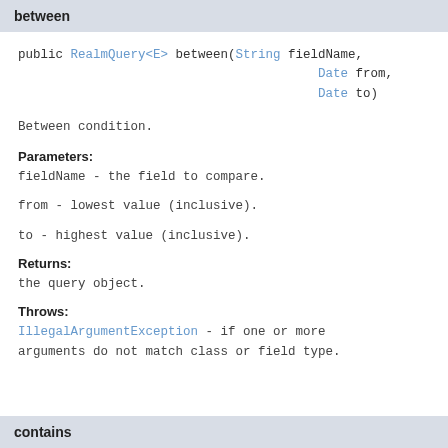between
Between condition.
Parameters:
fieldName - the field to compare.
from - lowest value (inclusive).
to - highest value (inclusive).
Returns:
the query object.
Throws:
IllegalArgumentException - if one or more arguments do not match class or field type.
contains